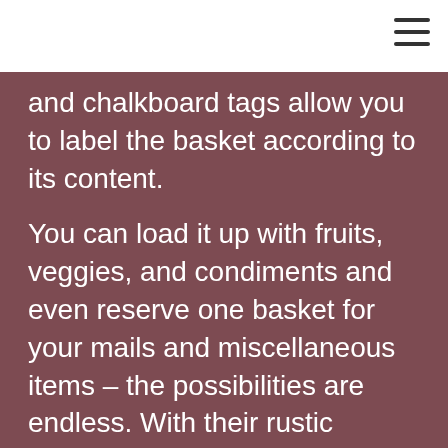and chalkboard tags allow you to label the basket according to its content.

You can load it up with fruits, veggies, and condiments and even reserve one basket for your mails and miscellaneous items – the possibilities are endless. With their rustic design, the hanging baskets can add a vintage and farmhouse touch to any home décor. Plus, you can easily suspend them on the wall or the back of your kitchen